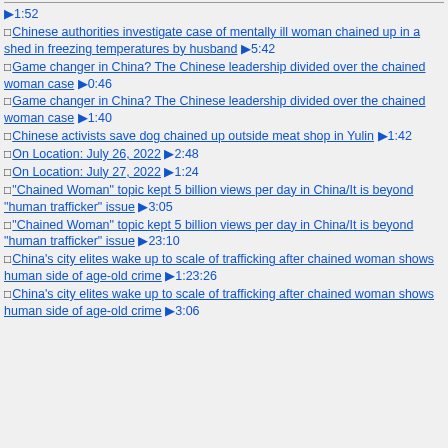▶1:52
□Chinese authorities investigate case of mentally ill woman chained up in a shed in freezing temperatures by husband ▶5:42
□Game changer in China? The Chinese leadership divided over the chained woman case ▶0:46
□Game changer in China? The Chinese leadership divided over the chained woman case ▶1:40
□Chinese activists save dog chained up outside meat shop in Yulin ▶1:42
□On Location: July 26, 2022 ▶2:48
□On Location: July 27, 2022 ▶1:24
□"Chained Woman" topic kept 5 billion views per day in China/It is beyond "human trafficker" issue ▶3:05
□"Chained Woman" topic kept 5 billion views per day in China/It is beyond "human trafficker" issue ▶23:10
□China's city elites wake up to scale of trafficking after chained woman shows human side of age-old crime ▶1:23:26
□China's city elites wake up to scale of trafficking after chained woman shows human side of age-old crime ▶3:06